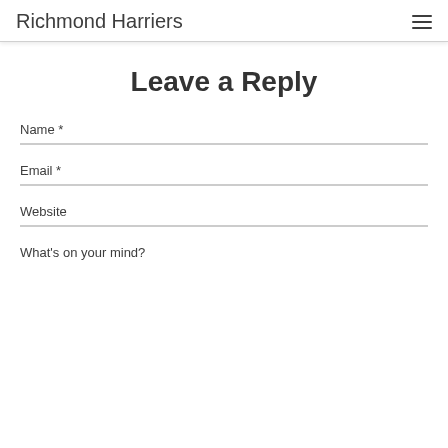Richmond Harriers
Leave a Reply
Name *
Email *
Website
What's on your mind?